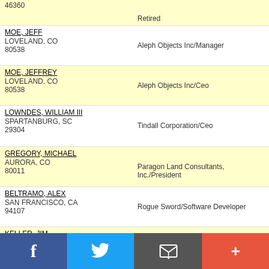| Name/Address | Employer/Occupation |
| --- | --- |
| 46360 | Retired |
| MOE, JEFF
LOVELAND, CO
80538 | Aleph Objects Inc/Manager |
| MOE, JEFFREY
LOVELAND, CO
80538 | Aleph Objects Inc/Ceo |
| LOWNDES, WILLIAM III
SPARTANBURG, SC
29304 | Tindall Corporation/Ceo |
| GREGORY, MICHAEL
AURORA, CO
80011 | Paragon Land Consultants, Inc./President |
| BELTRAMO, ALEX
SAN FRANCISCO, CA
94107 | Rogue Sword/Software Developer |
| KELLER, JIM
SAN ANTONIO, TX
78210 | Self-Employed/Self-Employed |
| HILLMAN, TATNALL
ASPEN, CO
81611 | Self/Retired |
| PETERSON, KENNETH
CAMAS, WA
98607 | Columbia Ventures Corporation/Ceo |